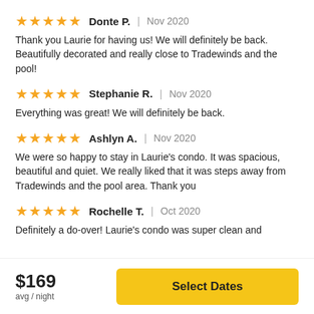★★★★★ Donte P. | Nov 2020
Thank you Laurie for having us! We will definitely be back. Beautifully decorated and really close to Tradewinds and the pool!
★★★★★ Stephanie R. | Nov 2020
Everything was great! We will definitely be back.
★★★★★ Ashlyn A. | Nov 2020
We were so happy to stay in Laurie's condo. It was spacious, beautiful and quiet. We really liked that it was steps away from Tradewinds and the pool area. Thank you
★★★★★ Rochelle T. | Oct 2020
Definitely a do-over! Laurie's condo was super clean and
$169 avg / night
Select Dates